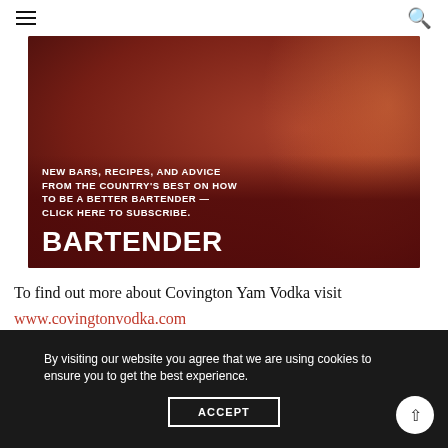☰  🔍
[Figure (photo): Bartender magazine advertisement banner showing food and drinks in background with white bold text overlay reading: NEW BARS, RECIPES, AND ADVICE FROM THE COUNTRY'S BEST ON HOW TO BE A BETTER BARTENDER — CLICK HERE TO SUBSCRIBE. BARTENDER]
To find out more about Covington Yam Vodka visit
www.covingtonvodka.com
By visiting our website you agree that we are using cookies to ensure you to get the best experience.
ACCEPT